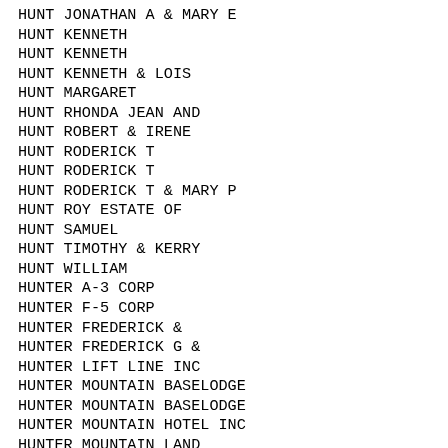HUNT JONATHAN A & MARY E
HUNT KENNETH
HUNT KENNETH
HUNT KENNETH & LOIS
HUNT MARGARET
HUNT RHONDA JEAN AND
HUNT ROBERT & IRENE
HUNT RODERICK T
HUNT RODERICK T
HUNT RODERICK T & MARY P
HUNT ROY ESTATE OF
HUNT SAMUEL
HUNT TIMOTHY & KERRY
HUNT WILLIAM
HUNTER A-3 CORP
HUNTER F-5 CORP
HUNTER FREDERICK &
HUNTER FREDERICK G &
HUNTER LIFT LINE INC
HUNTER MOUNTAIN BASELODGE
HUNTER MOUNTAIN BASELODGE
HUNTER MOUNTAIN HOTEL INC
HUNTER MOUNTAIN LAND
HUNTER MOUNTAIN LAND CORP
HUNTER MT BASE LODGE INC
HUNTER MT BASE LODGE INC